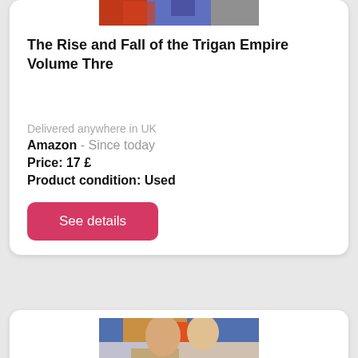[Figure (photo): Top portion of a book cover for 'The Rise and Fall of the Trigan Empire Volume Three', showing colorful illustrated artwork]
The Rise and Fall of the Trigan Empire Volume Thre
Delivered anywhere in UK
Amazon  - Since today
Price: 17 £
Product condition: Used
See details
[Figure (photo): Bottom portion showing the top of another book cover with illustrated characters - two faces visible, the book appears to be another Trigan Empire volume]